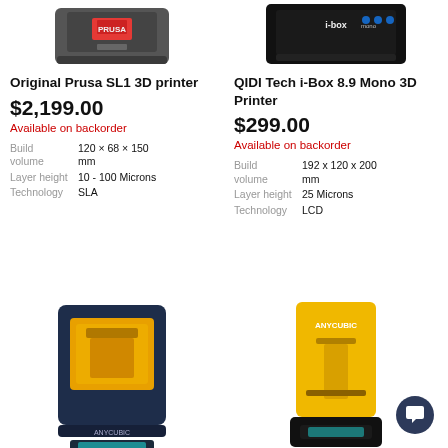[Figure (photo): Top portion of Original Prusa SL1 3D printer (gray, with PRUSA label)]
[Figure (photo): Top portion of QIDI Tech i-Box Mono 3D Printer (black, with i-box mono label and blue dots)]
Original Prusa SL1 3D printer
QIDI Tech i-Box 8.9 Mono 3D Printer
$2,199.00
$299.00
Available on backorder
Available on backorder
| Spec | Value |
| --- | --- |
| Build volume | 120 × 68 × 150 mm |
| Layer height | 10 - 100 Microns |
| Technology | SLA |
| Spec | Value |
| --- | --- |
| Build volume | 192 x 120 x 200 mm |
| Layer height | 25 Microns |
| Technology | LCD |
[Figure (photo): Anycubic 3D printer (dark navy blue body with yellow/gold transparent window showing internal mechanism, Anycubic label at bottom)]
[Figure (photo): Anycubic tall resin 3D printer (yellow transparent body with Anycubic logo, black base with display)]